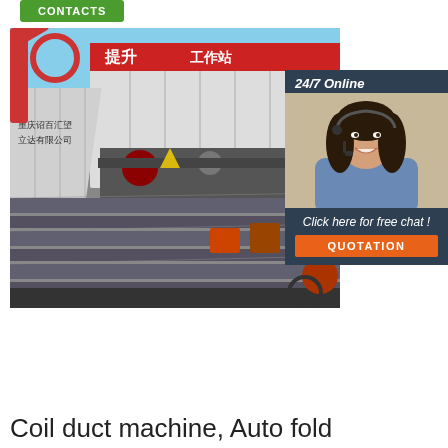[Figure (other): Green button/banner at top with white text (partially visible)]
[Figure (photo): Industrial facility photo showing shipping containers with Chinese text banners and pipe cutting/processing equipment including large red crane/lifting equipment and metal ducts on foreground workbenches]
[Figure (other): 24/7 Online chat widget overlay with photo of smiling woman with headset, 'Click here for free chat!' text, and orange QUOTATION button]
Coil duct machine, Auto fold